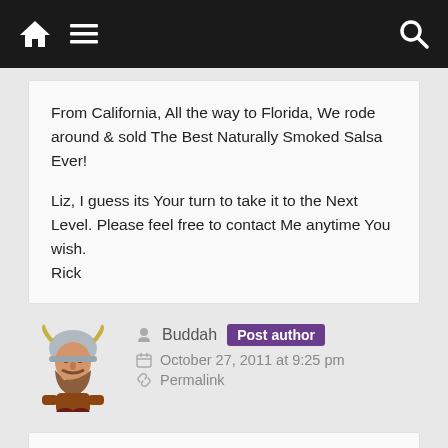Navigation bar with home, menu, and search icons
From California, All the way to Florida, We rode around & sold The Best Naturally Smoked Salsa Ever!

Liz, I guess its Your turn to take it to the Next Level. Please feel free to contact Me anytime You wish.
Rick
Buddah Post author
October 27, 2011 at 9:25 pm
Permalink
Rick we grieve his loss with you. Thanks for sharing with us.